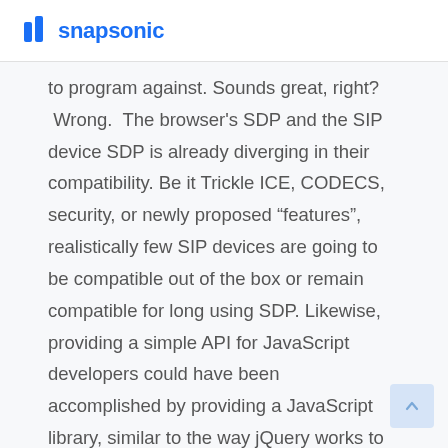snapsonic
to program against. Sounds great, right? Wrong. The browser's SDP and the SIP device SDP is already diverging in their compatibility. Be it Trickle ICE, CODECS, security, or newly proposed “features”, realistically few SIP devices are going to be compatible out of the box or remain compatible for long using SDP. Likewise, providing a simple API for JavaScript developers could have been accomplished by providing a JavaScript library, similar to the way jQuery works to abstract and simplify DOM manipulation (and many other things). In